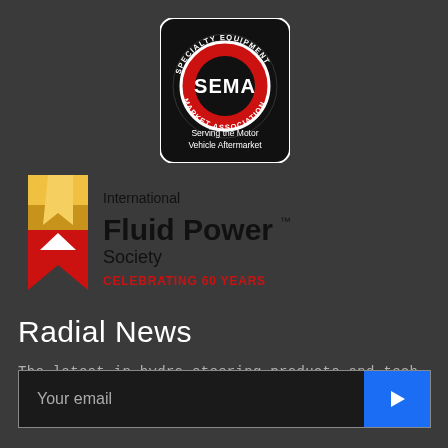[Figure (logo): SEMA - Specialty Equipment Market Association circular logo with red center reading SEMA, text around the ring, and text below reading Serving the Motor Vehicle Aftermarket, on black background with white border, rounded rectangle]
[Figure (logo): International Fluid Power Society logo with red and gold bookmark ribbon icon on left, text on right reading International, Fluid Power (bold, large), Society, CELEBRATING 60 YEARS in red]
Radial News
The latest in hydro steering products and tech. Straight to your inbox.
Your email